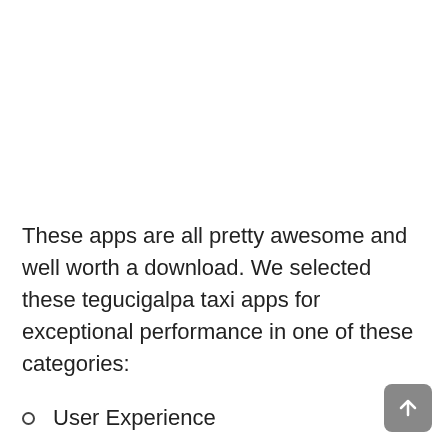These apps are all pretty awesome and well worth a download. We selected these tegucigalpa taxi apps for exceptional performance in one of these categories:
User Experience
Core Functionality
Innovative solution